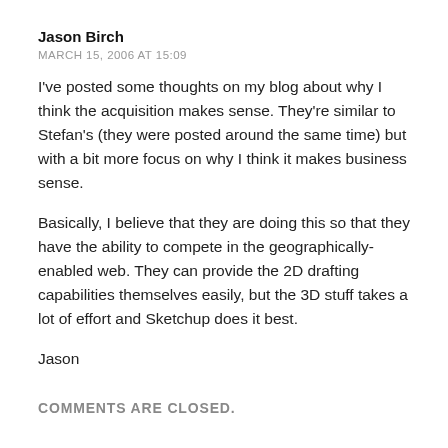Jason Birch
MARCH 15, 2006 AT 15:09
I've posted some thoughts on my blog about why I think the acquisition makes sense. They're similar to Stefan's (they were posted around the same time) but with a bit more focus on why I think it makes business sense.
Basically, I believe that they are doing this so that they have the ability to compete in the geographically-enabled web. They can provide the 2D drafting capabilities themselves easily, but the 3D stuff takes a lot of effort and Sketchup does it best.
Jason
COMMENTS ARE CLOSED.